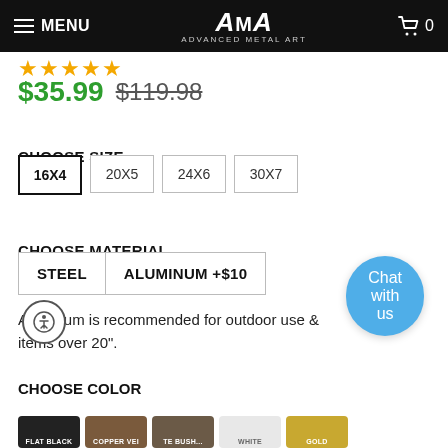MENU | AMA ADVANCED METAL ART | Cart 0
★★★★★
$35.99  $119.98
CHOOSE SIZE
16X4
20X5
24X6
30X7
CHOOSE MATERIAL
STEEL
ALUMINUM +$10
Aluminum is recommended for outdoor use & items over 20".
CHOOSE COLOR
FLAT BLACK | COPPER VEI... | TE BUSH... | WHITE | GOLD